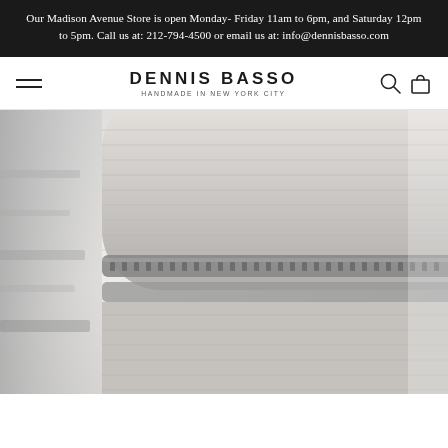Our Madison Avenue Store is open Monday- Friday 11am to 6pm, and Saturday 12pm to 5pm. Call us at: 212-794-4500 or email us at: info@dennisbasso.com
DENNIS BASSO
HANDMADE IN NEW YORK CITY
[Figure (photo): Close-up photograph of gray textured luggage with zipper detail and a black fur pom-pom charm attached, shown in black and white / monochrome tones.]